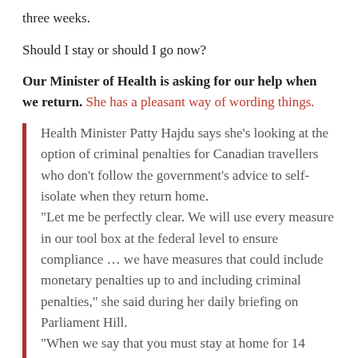three weeks.
Should I stay or should I go now?
Our Minister of Health is asking for our help when we return. She has a pleasant way of wording things.
Health Minister Patty Hajdu says she’s looking at the option of criminal penalties for Canadian travellers who don’t follow the government’s advice to self-isolate when they return home.
“Let me be perfectly clear. We will use every measure in our tool box at the federal level to ensure compliance … we have measures that could include monetary penalties up to and including criminal penalties,” she said during her daily briefing on Parliament Hill.
“When we say that you must stay at home for 14 days, that means you stay at home for 14 days. You do not stop for groceries, that you do not go visit your neighbours or your friends, that you rest in